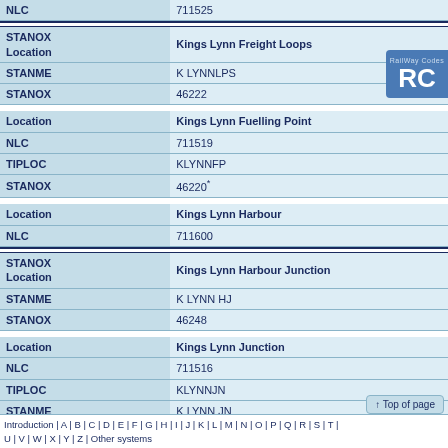| Field | Value |
| --- | --- |
| NLC | 711525 |
| STANOX Location | Kings Lynn Freight Loops |
| STANME | K LYNNLPS |
| STANOX | 46222 |
| Location | Kings Lynn Fuelling Point |
| NLC | 711519 |
| TIPLOC | KLYNNFP |
| STANOX | 46220* |
| Location | Kings Lynn Harbour |
| NLC | 711600 |
| STANOX Location | Kings Lynn Harbour Junction |
| STANME | K LYNN HJ |
| STANOX | 46248 |
| Location | Kings Lynn Junction |
| NLC | 711516 |
| TIPLOC | KLYNNJN |
| STANME | K LYNN JN |
| STANOX | 46223 |
Introduction | A | B | C | D | E | F | G | H | I | J | K | L | M | N | O | P | Q | R | S | T | U | V | W | X | Y | Z | Other systems